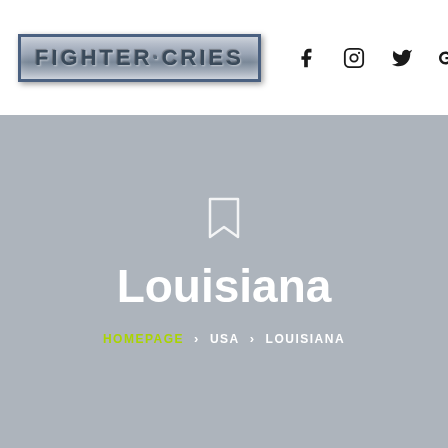[Figure (logo): Fighter Cries logo with metallic military-style text in a bordered box, followed by social media icons for Facebook, Instagram, Twitter, and Google+]
Louisiana
HOMEPAGE > USA > LOUISIANA